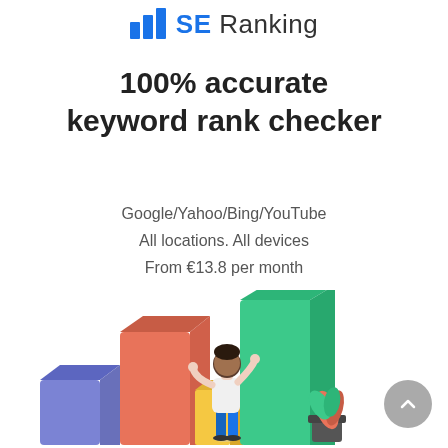[Figure (logo): SE Ranking logo with blue bar chart icon and text 'SE Ranking']
100% accurate keyword rank checker
Google/Yahoo/Bing/YouTube
All locations. All devices
From €13.8 per month
[Figure (illustration): Illustration of a person arranging colorful bar chart columns (blue, orange/red, yellow, green) with a plant nearby]
[Figure (other): Gray circular scroll-to-top button with upward chevron arrow]